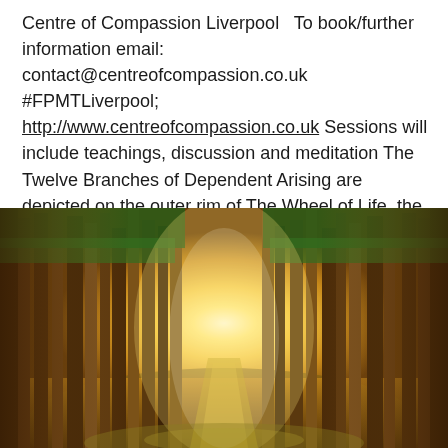Centre of Compassion Liverpool  To book/further information email: contact@centreofcompassion.co.uk  #FPMTLiverpool; http://www.centreofcompassion.co.uk Sessions will include teachings, discussion and meditation The Twelve Branches of Dependent Arising are depicted on the outer rim of The Wheel of Life, the Tibetan… READ MORE
[Figure (photo): A forest path with tall pine/fir trees on both sides, bathed in warm golden sunlight streaming through the center of the image, creating a glowing tunnel effect. The ground is covered in grass and the atmosphere is warm and serene.]